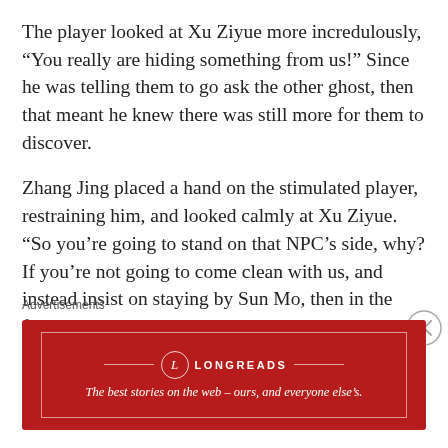The player looked at Xu Ziyue more incredulously, “You really are hiding something from us!” Since he was telling them to go ask the other ghost, then that meant he knew there was still more for them to discover.
Zhang Jing placed a hand on the stimulated player, restraining him, and looked calmly at Xu Ziyue. “So you’re going to stand on that NPC’s side, why? If you’re not going to come clean with us, and instead insist on staying by Sun Mo, then in the future, you are not welcomed with us any more.”
Xu Ziyue opened his mouth to refute. He
Advertisements
[Figure (other): Longreads advertisement banner. Red background with white border rectangle. Longreads logo (circle with L) and brand name. Tagline: The best stories on the web – ours, and everyone else’s.]